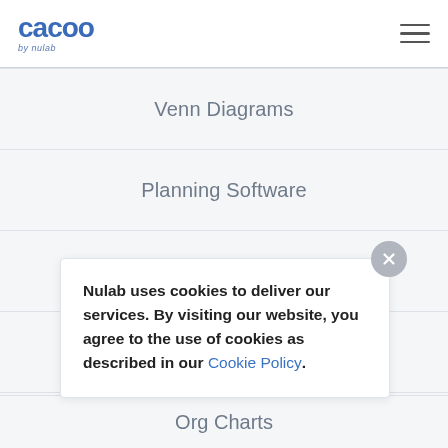Cacoo by nulab
Venn Diagrams
Planning Software
Daily Standup
Kanban
RACI Chart Software
Nulab uses cookies to deliver our services. By visiting our website, you agree to the use of cookies as described in our Cookie Policy.
Org Charts